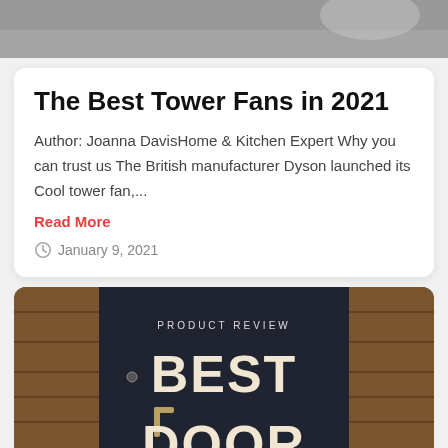[Figure (photo): Top portion of a photo, showing a gray/white blurred background, partial top of page]
The Best Tower Fans in 2021
Author: Joanna DavisHome & Kitchen Expert Why you can trust us The British manufacturer Dyson launched its Cool tower fan,...
Read More
January 9, 2021
[Figure (photo): Product review image showing a wooden door with text overlaid: PRODUCT REVIEW and BEST DOOR]